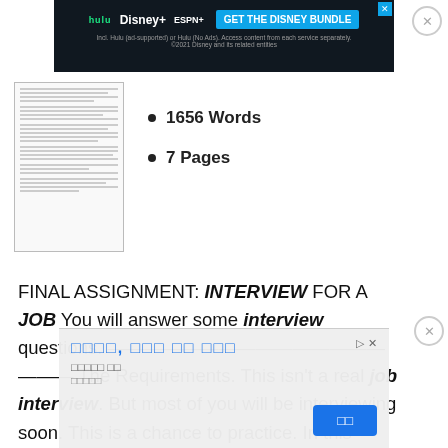[Figure (screenshot): Disney Bundle advertisement banner at top of page showing Hulu, Disney+, ESPN+ logos with 'GET THE DISNEY BUNDLE' call-to-action button]
[Figure (illustration): Thumbnail image of a text document page]
1656 Words
7 Pages
FINAL ASSIGNMENT: INTERVIEW FOR A JOB You will answer some interview questions. ——————————————————— The Requirements. This isn't a real job interview. But most of you will be interviewing soon. This is a chance to practice. In this activity, you are expected to answer in writing some questions as if you were sitting an interview. Start by indicating ————————————
[Figure (screenshot): Korean language advertisement overlay at the bottom of the page with blue button]